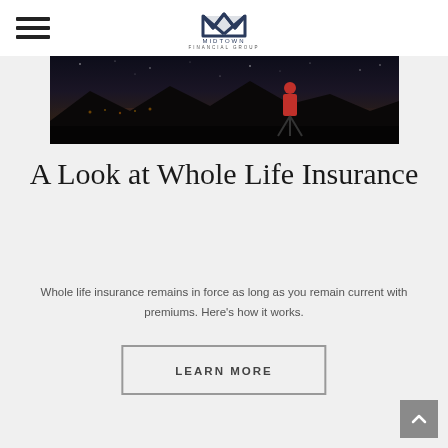Midtown Financial Group
[Figure (photo): Night scene with person in red jacket standing on a dark beach or field with distant city lights and mountains in background]
A Look at Whole Life Insurance
Whole life insurance remains in force as long as you remain current with premiums. Here's how it works.
LEARN MORE